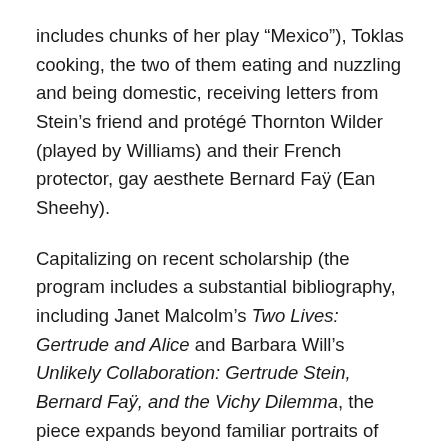includes chunks of her play “Mexico”), Toklas cooking, the two of them eating and nuzzling and being domestic, receiving letters from Stein’s friend and protégé Thornton Wilder (played by Williams) and their French protector, gay aesthete Bernard Faÿ (Ean Sheehy).
Capitalizing on recent scholarship (the program includes a substantial bibliography, including Janet Malcolm’s Two Lives: Gertrude and Alice and Barbara Will’s Unlikely Collaboration: Gertrude Stein, Bernard Faÿ, and the Vichy Dilemma), the piece expands beyond familiar portraits of Stein and Toklas to explore the moral complications and vulnerability of two Jewish American lesbians surviving Nazi occupation of France with the help of Faÿ, an official with the Vichy regime who espoused anti-Semitic views and was jailed after the war for his collaboration. Short on